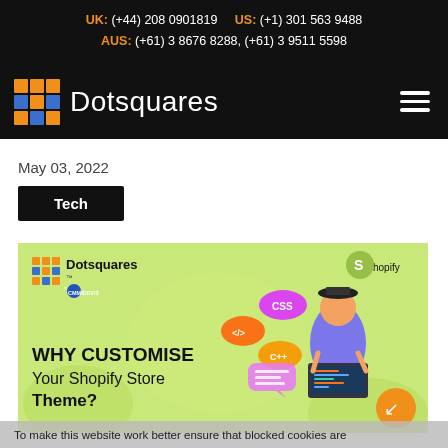UK: (+44) 208 0901819   US: (+1) 301 563 9488   AUS: (+61) 3 8676 8288, (+61) 3 9511 5598
[Figure (logo): Dotsquares logo with orange and blue grid icon and white text on black background, with hamburger menu icon]
May 03, 2022
Tech
[Figure (illustration): Dotsquares CMMIDEV/3 branded banner with green background showing WHY CUSTOMISE Your Shopify Store Theme? with Shopify logo, a developer illustration, and coding language bubbles (CSS, </>, C++)]
To make this website work better ensure that blocked cookies are allowed. Review Cookie Settings